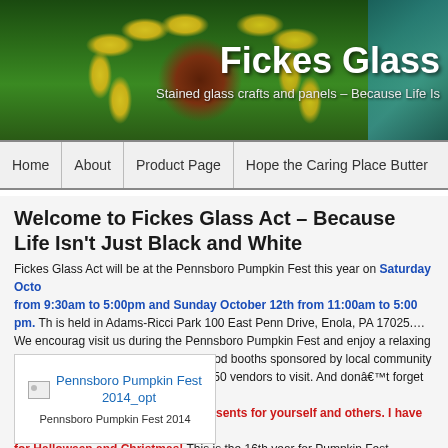[Figure (photo): Stained glass sunflower header image with green, yellow, and teal colors]
Fickes Glass
Stained glass crafts and panels – Because Life Is
Home | About | Product Page | Hope the Caring Place Butter
Welcome to Fickes Glass Act – Because Life Isn't Just Black and White
Fickes Glass Act will be at the Pennsboro Pumpkin Fest this year on Saturday October from 9:30am to 5:00pm and Sunday October 12th from 11:00am to 5:00 pm. The is held in Adams-Ricci Park 100 East Penn Drive, Enola, PA 17025.… We encourage visit us during the Pennsboro Pumpkin Fest and enjoy a relaxing day of fun. great entertainment and food booths sponsored by local community groups. There will be approximately 250 vendors to visit. And don't forget the Car Show Saturday! Pl to attend and find those special presents for yourself and others. I have many n for Halloween and Christmas! This is the 16th year for Pumpkin Fest.
[Figure (photo): Pennsboro Pumpkin Fest 2014_opt image placeholder]
Pennsboro Pumpkin Fest 2014